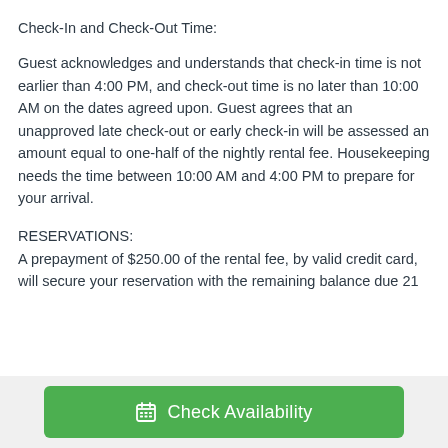Check-In and Check-Out Time:
Guest acknowledges and understands that check-in time is not earlier than 4:00 PM, and check-out time is no later than 10:00 AM on the dates agreed upon. Guest agrees that an unapproved late check-out or early check-in will be assessed an amount equal to one-half of the nightly rental fee. Housekeeping needs the time between 10:00 AM and 4:00 PM to prepare for your arrival.
RESERVATIONS:
A prepayment of $250.00 of the rental fee, by valid credit card, will secure your reservation with the remaining balance due 21
Check Availability